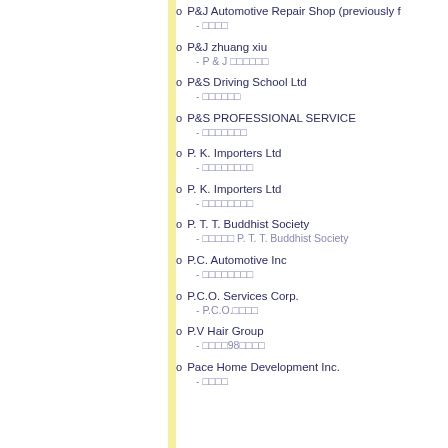P&J Automotive Repair Shop (previously f
- □□□□
P&J zhuang xiu
- P & J □□□□□□
P&S Driving School Ltd
- □□□□□□
P&S PROFESSIONAL SERVICE
- □□□□□□□
P. K. Importers Ltd
- □□□□□□□□
P. K. Importers Ltd
- □□□□□□□□
P. T. T. Buddhist Society
- □□□□□ P. T. T. Buddhist Society
P.C. Automotive Inc
- □□□□□□□□
P.C.O. Services Corp.
- P.C.O.□□□□
P.V Hair Group
- □□□□98□□□□
Pace Home Development Inc.
- □□□□